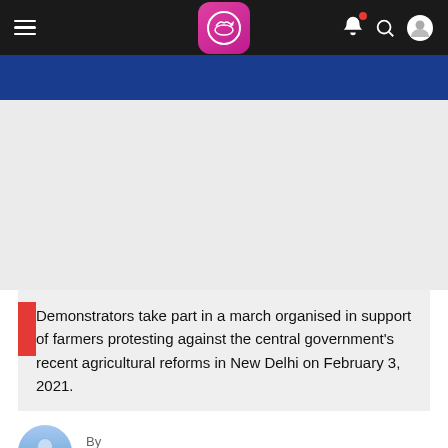Navigation bar with hamburger menu, logo, bell notification, search, and user profile icons
[Figure (photo): Blue banner/image area placeholder for a news article photo]
Demonstrators take part in a march organised in support of farmers protesting against the central government's recent agricultural reforms in New Delhi on February 3, 2021.
By Web Desk